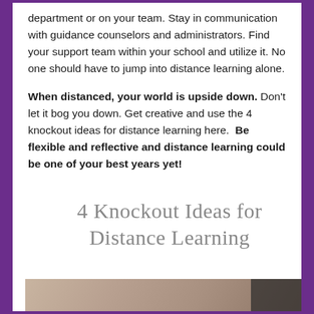department or on your team. Stay in communication with guidance counselors and administrators. Find your support team within your school and utilize it. No one should have to jump into distance learning alone.
When distanced, your world is upside down. Don't let it bog you down. Get creative and use the 4 knockout ideas for distance learning here. Be flexible and reflective and distance learning could be one of your best years yet!
4 Knockout Ideas for Distance Learning
[Figure (photo): Partial photo strip at bottom of page showing a blurred background scene with a dark area on the right side]